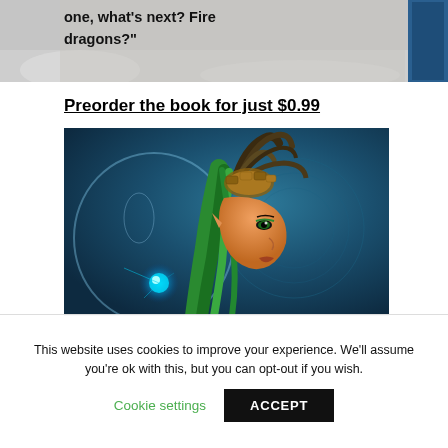[Figure (photo): Partial view of a book cover or advertisement with bold text quote: 'one, what's next? Fire dragons?' on a snowy/gray background with a blue book corner visible.]
Preorder the book for just $0.99
[Figure (illustration): Fantasy illustration of a woman with green hair, pointed ears, and elaborate dark tentacle-like headpiece, set against a teal/blue background with glowing blue light orb.]
This website uses cookies to improve your experience. We'll assume you're ok with this, but you can opt-out if you wish.
Cookie settings  ACCEPT